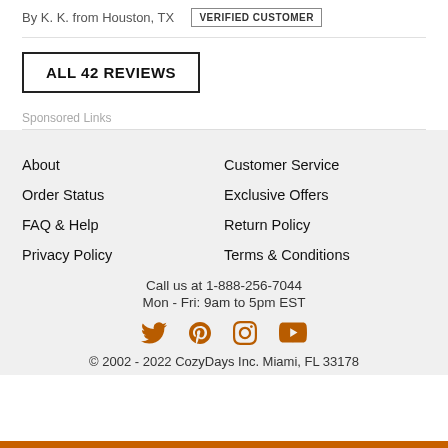By K. K. from Houston, TX  VERIFIED CUSTOMER
ALL 42 REVIEWS
Sponsored Links
About
Customer Service
Order Status
Exclusive Offers
FAQ & Help
Return Policy
Privacy Policy
Terms & Conditions
Call us at 1-888-256-7044
Mon - Fri: 9am to 5pm EST
[Figure (illustration): Social media icons: Twitter, Pinterest, Instagram, YouTube in orange/brown color]
© 2002 - 2022 CozyDays Inc. Miami, FL 33178